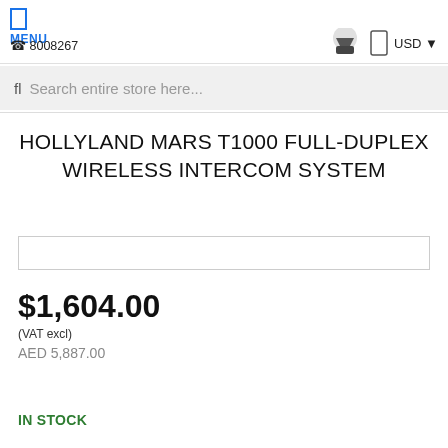MENU  ☎ 8008267  USD
Search entire store here...
HOLLYLAND MARS T1000 FULL-DUPLEX WIRELESS INTERCOM SYSTEM
$1,604.00
(VAT excl)
AED 5,887.00
IN STOCK